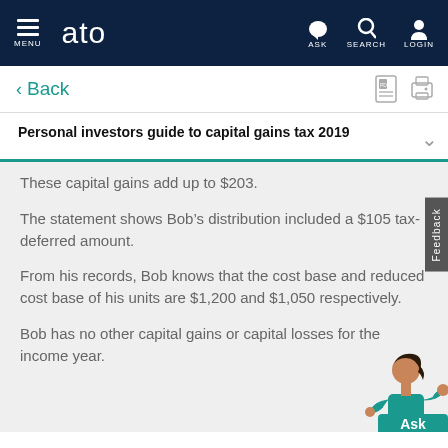MENU  ato  ASK  SEARCH  LOGIN
< Back
Personal investors guide to capital gains tax 2019
These capital gains add up to $203.
The statement shows Bob’s distribution included a $105 tax-deferred amount.
From his records, Bob knows that the cost base and reduced cost base of his units are $1,200 and $1,050 respectively.
Bob has no other capital gains or capital losses for the income year.